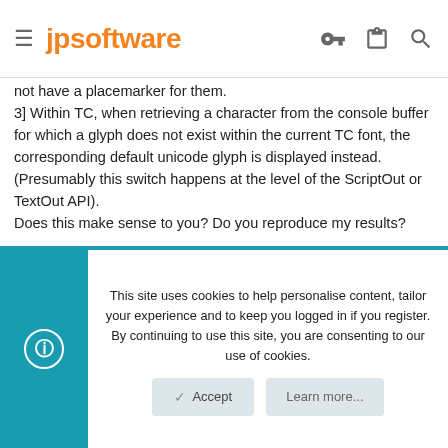jpsoftware
not have a placemarker for them.
3] Within TC, when retrieving a character from the console buffer for which a glyph does not exist within the current TC font, the corresponding default unicode glyph is displayed instead. (Presumably this switch happens at the level of the ScriptOut or TextOut API).
Does this make sense to you? Do you reproduce my results?
Charles Dye
Super Moderator
This site uses cookies to help personalise content, tailor your experience and to keep you logged in if you register.
By continuing to use this site, you are consenting to our use of cookies.